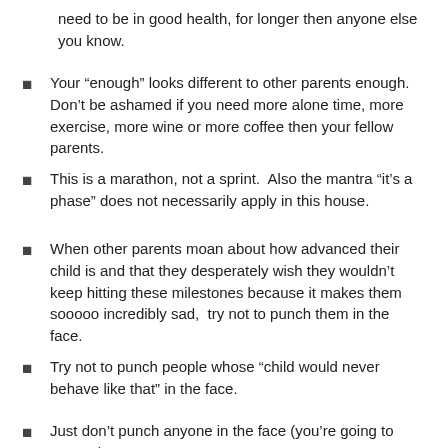need to be in good health, for longer then anyone else you know.
Your “enough” looks different to other parents enough. Don’t be ashamed if you need more alone time, more exercise, more wine or more coffee then your fellow parents.
This is a marathon, not a sprint. Also the mantra “it’s a phase” does not necessarily apply in this house.
When other parents moan about how advanced their child is and that they desperately wish they wouldn’t keep hitting these milestones because it makes them sooooo incredibly sad, try not to punch them in the face.
Try not to punch people whose “child would never behave like that” in the face.
Just don’t punch anyone in the face (you’re going to want to)